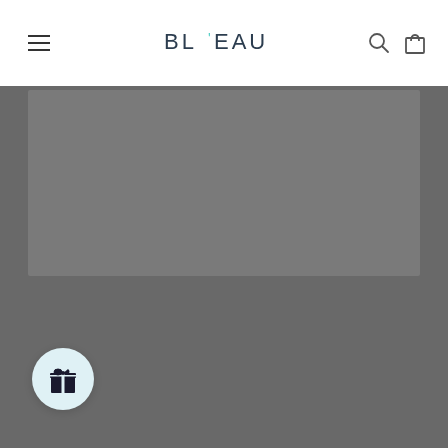BL'EAU — website header with hamburger menu, logo, search and cart icons
[Figure (screenshot): Gray placeholder image area below the header navigation]
[Figure (screenshot): Gray lower content area with a lighter gray strip]
[Figure (illustration): Round light blue gift/rewards button icon in lower left]